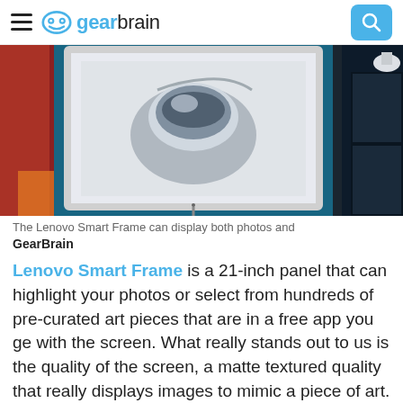gearbrain
[Figure (photo): Photo of a Lenovo Smart Frame digital picture frame displaying a black and white artwork, set against a dark teal/blue background with some items visible on the right side]
The Lenovo Smart Frame can display both photos and
GearBrain
Lenovo Smart Frame is a 21-inch panel that can highlight your photos or select from hundreds of pre-curated art pieces that are in a free app you ge with the screen. What really stands out to us is the quality of the screen, a matte textured quality that really displays images to mimic a piece of art. The wall-mounted screen also flips and turns 360-